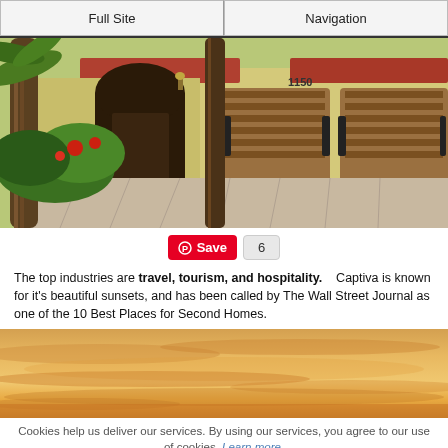Full Site | Navigation
[Figure (photo): Exterior of a Mediterranean-style home with yellow stucco walls, arched doorway, brown garage doors, palm trees, and tropical landscaping with a brick paver driveway. Address number 1150 visible.]
[Figure (other): Pinterest Save button (red) with count of 6]
The top industries are travel, tourism, and hospitality.    Captiva is known for it's beautiful sunsets, and has been called by The Wall Street Journal as one of the 10 Best Places for Second Homes.
[Figure (photo): A warm golden-orange sunset sky with soft clouds, horizon glowing orange.]
Cookies help us deliver our services. By using our services, you agree to our use of cookies. Learn more.
Got it!